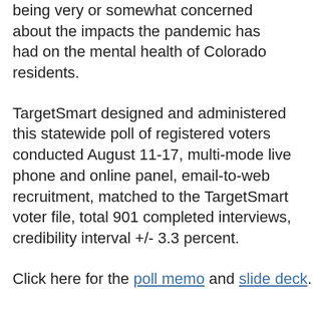being very or somewhat concerned about the impacts the pandemic has had on the mental health of Colorado residents.
TargetSmart designed and administered this statewide poll of registered voters conducted August 11-17, multi-mode live phone and online panel, email-to-web recruitment, matched to the TargetSmart voter file, total 901 completed interviews, credibility interval +/- 3.3 percent.
Click here for the poll memo and slide deck.